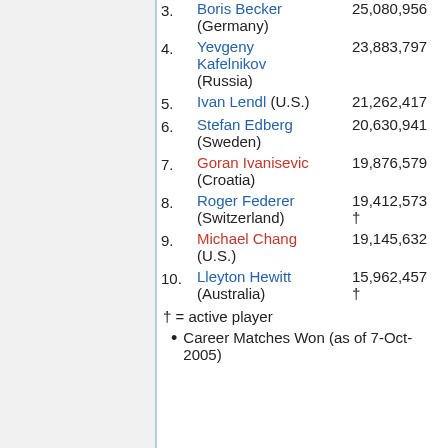3. Boris Becker (Germany) 25,080,956
4. Yevgeny Kafelnikov (Russia) 23,883,797
5. Ivan Lendl (U.S.) 21,262,417
6. Stefan Edberg (Sweden) 20,630,941
7. Goran Ivanisevic (Croatia) 19,876,579
8. Roger Federer (Switzerland) 19,412,573 †
9. Michael Chang (U.S.) 19,145,632
10. Lleyton Hewitt (Australia) 15,962,457 †
† = active player
Career Matches Won (as of 7-Oct-2005)